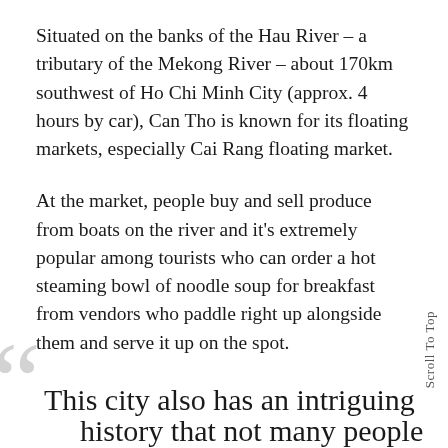Situated on the banks of the Hau River – a tributary of the Mekong River – about 170km southwest of Ho Chi Minh City (approx. 4 hours by car), Can Tho is known for its floating markets, especially Cai Rang floating market.
At the market, people buy and sell produce from boats on the river and it's extremely popular among tourists who can order a hot steaming bowl of noodle soup for breakfast from vendors who paddle right up alongside them and serve it up on the spot.
This city also has an intriguing history that not many people